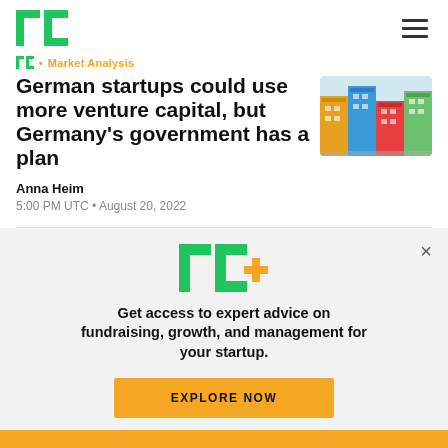TechCrunch
Market Analysis
German startups could use more venture capital, but Germany's government has a plan
[Figure (illustration): Colorful isometric city illustration with buildings and roads]
Anna Heim
5:00 PM UTC • August 20, 2022
[Figure (logo): TC+ logo in green and yellow]
Get access to expert advice on fundraising, growth, and management for your startup.
EXPLORE NOW